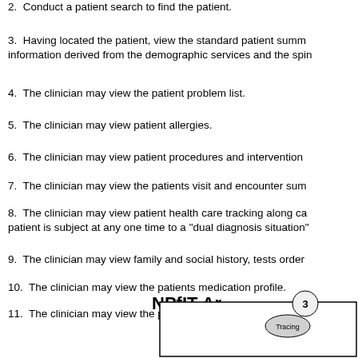2.  Conduct a patient search to find the patient.
3.  Having located the patient, view the standard patient summary information derived from the demographic services and the spin...
4.  The clinician may view the patient problem list.
5.  The clinician may view patient allergies.
6.  The clinician may view patient procedures and interventions...
7.  The clinician may view the patients visit and encounter sum...
8.  The clinician may view patient health care tracking along ca... patient is subject at any one time to a "dual diagnosis situation"...
9.  The clinician may view family and social history, tests order...
10.  The clinician may view the patients medication profile.
11.  The clinician may view the patients medication profile aler...
This raises many questions, too many to be addressed in this document... architecture envisaged and hence the scale of the challenge in...
[Figure (other): NPfIT Architecture diagram with a box and numbered node (3) labeled Tracing]